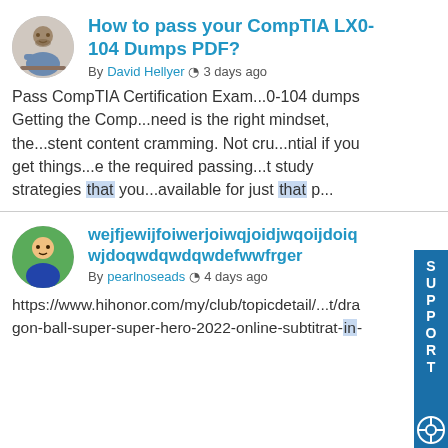[Figure (photo): Avatar photo of a man sitting at a computer, circular crop]
How to pass your CompTIA LX0-104 Dumps PDF?
By David Hellyer  3 days ago
Pass CompTIA Certification Exam...0-104 dumps Getting the Comp...need is the right mindset, the...stent content cramming. Not cru...ntial if you get things...e the required passing...t study strategies that you...available for just that p...
[Figure (photo): Avatar photo of a person, circular crop with green background]
wejfjewijfoiwerjoiwqjoidjwqoijdoiqwjdoqwdqwdqwdefwwfrger
By pearlnoseads  4 days ago
https://www.hihonor.com/my/club/topicdetail/...t/dragon-ball-super-super-hero-2022-online-subtitrat-in-